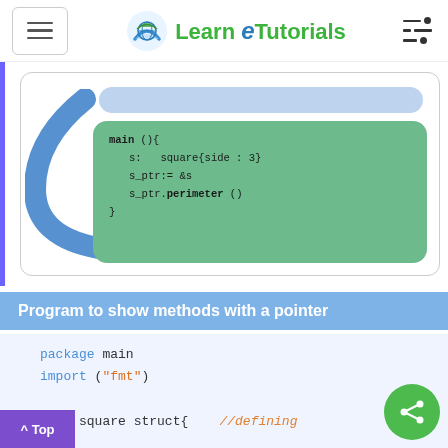Learn eTutorials
[Figure (illustration): Diagram showing a Go code snippet in a green rounded box with a blue curved arrow and a blue pill shape above, illustrating pointer method dispatch. Code shown: main (){ s: = square{side : 3} s_ptr:= &s s_ptr.perimeter () }]
Program to show methods with a pointer
package main
import ("fmt")

type square struct{    //defining